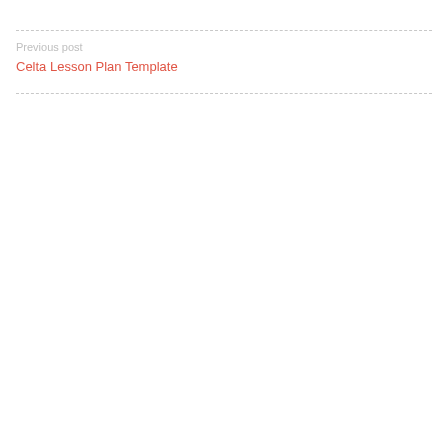Previous post
Celta Lesson Plan Template